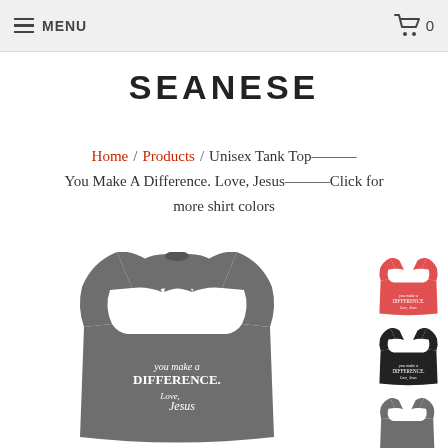MENU  [cart] 0
SEANESE
Home / Products / Unisex Tank Top---You Make A Difference. Love, Jesus---Click for more shirt colors
[Figure (photo): Gray unisex tank top with white text reading YOU MAKE A DIFFERENCE. Love, Jesus]
[Figure (photo): Red unisex tank top thumbnail]
[Figure (photo): Black unisex tank top thumbnail]
[Figure (photo): Gray unisex tank top thumbnail]